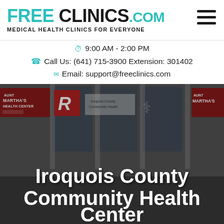FREE CLINICS.COM — Medical Health Clinics For Everyone
9:00 AM - 2:00 PM
Call Us: (641) 715-3900 Extension: 301402
Email: support@freeclinics.com
[Figure (photo): Exterior photo of Iroquois County Community Health Center building with signage including Aunt Martha's Health Center signs and a caduceus symbol]
Iroquois County Community Health Center